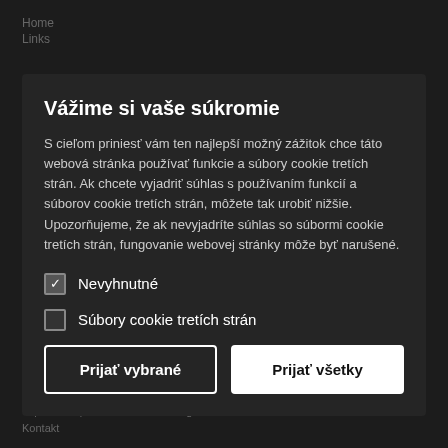Vážime si vaše súkromie
S cieľom priniesť vám ten najlepší možný zážitok chce táto webová stránka používať funkcie a súbory cookie tretích strán. Ak chcete vyjadriť súhlas s používaním funkcií a súborov cookie tretích strán, môžete tak urobiť nižšie. Upozorňujeme, že ak nevyjadríte súhlas so súbormi cookie tretích strán, fungovanie webovej stránky môže byť narušené.
☑ Nevyhnutné
☐ Súbory cookie tretích strán
Prijať vybrané
Prijať všetky